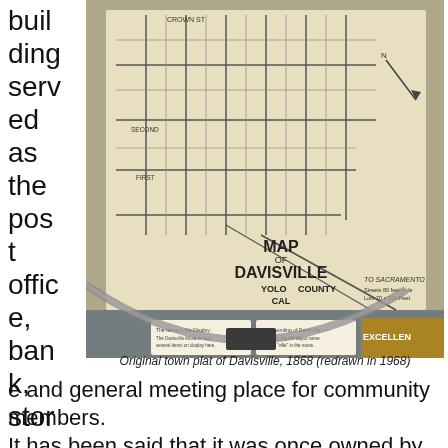building served as the post office, bank, store
[Figure (photo): Photograph of a museum display showing the original town plat map of Davisville, 1868 (redrawn in 1968), with MAP OF DAVISVILLE YOLO COUNTY CAL text visible on the map, along with display case items and labels.]
Original town plat of Davisville, 1868 (redrawn in 1968)
e and general meeting place for community members.
It has been said that it was once owned by William Dresbach, Davisville's first postmaster